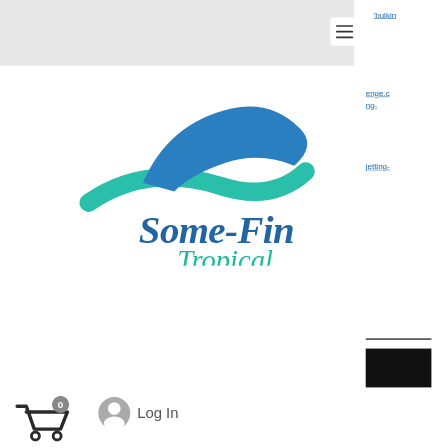[Figure (logo): Some-Fin Tropical logo: a blue manta ray shape with teal wave swoosh, and cursive text 'Some-Fin' in blue and 'Tropical' in teal]
'bulkin
enge.c
ng-
jetting-
0
Log In
ANNOUNCEMENTS 🔺
- BRANDY WILL BE AWAY ON VACATION! Our online purchasing options will be temporarily